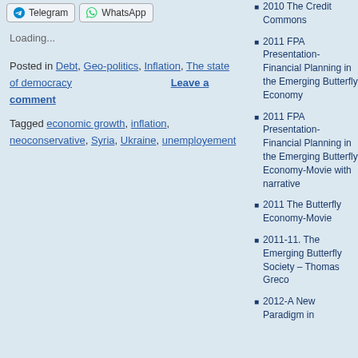Telegram
WhatsApp
Loading...
Posted in Debt, Geo-politics, Inflation, The state of democracy
Leave a comment
Tagged economic growth, inflation, neoconservative, Syria, Ukraine, unemployement
2010 The Credit Commons
2011 FPA Presentation-Financial Planning in the Emerging Butterfly Economy
2011 FPA Presentation-Financial Planning in the Emerging Butterfly Economy-Movie with narrative
2011 The Butterfly Economy-Movie
2011-11. The Emerging Butterfly Society – Thomas Greco
2012-A New Paradigm in